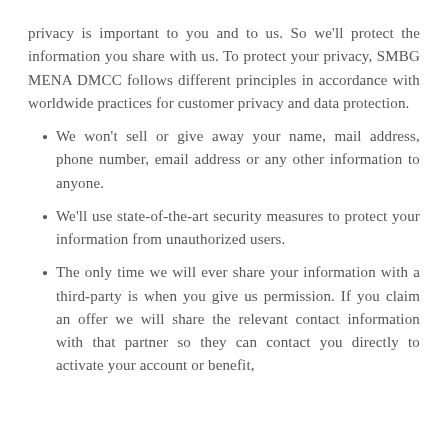privacy is important to you and to us. So we'll protect the information you share with us. To protect your privacy, SMBG MENA DMCC follows different principles in accordance with worldwide practices for customer privacy and data protection.
We won't sell or give away your name, mail address, phone number, email address or any other information to anyone.
We'll use state-of-the-art security measures to protect your information from unauthorized users.
The only time we will ever share your information with a third-party is when you give us permission. If you claim an offer we will share the relevant contact information with that partner so they can contact you directly to activate your account or benefit,